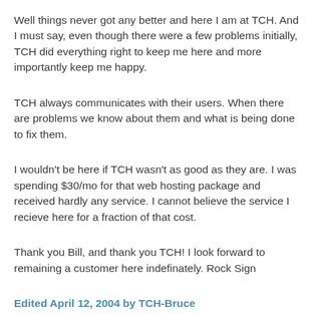Well things never got any better and here I am at TCH. And I must say, even though there were a few problems initially, TCH did everything right to keep me here and more importantly keep me happy.
TCH always communicates with their users. When there are problems we know about them and what is being done to fix them.
I wouldn't be here if TCH wasn't as good as they are. I was spending $30/mo for that web hosting package and received hardly any service. I cannot believe the service I recieve here for a fraction of that cost.
Thank you Bill, and thank you TCH! I look forward to remaining a customer here indefinately. Rock Sign
Edited April 12, 2004 by TCH-Bruce